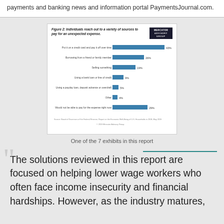payments and banking news and information portal PaymentsJournal.com.
[Figure (bar-chart): Figure 2: Individuals reach out to a variety of sources to pay for an unexpected expense.]
One of the 7 exhibits in this report
The solutions reviewed in this report are focused on helping lower wage workers who often face income insecurity and financial hardships. However, as the industry matures,